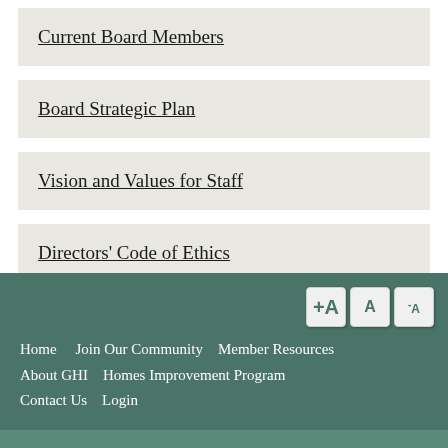Current Board Members
Board Strategic Plan
Vision and Values for Staff
Directors' Code of Ethics
Home    Join Our Community    Member Resources    About GHI    Homes Improvement Program    Contact Us    Login